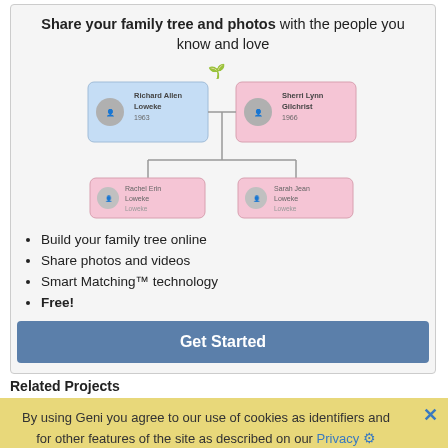Share your family tree and photos with the people you know and love
[Figure (organizational-chart): Family tree diagram showing Richard Allen Loweke (1963) and Sherri Lynn Gilchrist (1966) as parents connected by a horizontal line, with two children below: Rachel Erin Loweke and Sarah Jean Loweke. The parent nodes are blue and pink rectangles with small portrait photos. The children nodes are pink rectangles with small portrait photos. A green sprout icon appears above the parent nodes.]
Build your family tree online
Share photos and videos
Smart Matching™ technology
Free!
Get Started
Related Projects
By using Geni you agree to our use of cookies as identifiers and for other features of the site as described on our Privacy page.